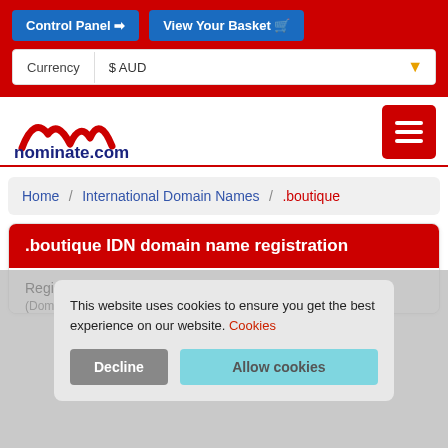Control Panel | View Your Basket | Currency: $ AUD
[Figure (logo): nominate.com logo with red stylized M icon and dark blue text]
Home / International Domain Names / .boutique
.boutique IDN domain name registration
Register your .boutique IDN domain name (Domains ending in .boutique Only)
This website uses cookies to ensure you get the best experience on our website. Cookies
Decline | Allow cookies